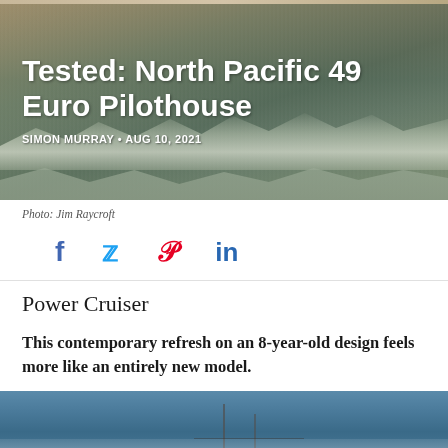[Figure (photo): Hero image of ocean waves with a boat, used as background for the article title. Dark teal and brown ocean water with white foam waves.]
Tested: North Pacific 49 Euro Pilothouse
SIMON MURRAY • AUG 10, 2021
Photo: Jim Raycroft
[Figure (infographic): Social media sharing icons: Facebook (f), Twitter (bird), Pinterest (P), LinkedIn (in)]
Power Cruiser
This contemporary refresh on an 8-year-old design feels more like an entirely new model.
[Figure (photo): Bottom cropped photo showing a sailboat on blue ocean water, masts visible against the sky.]